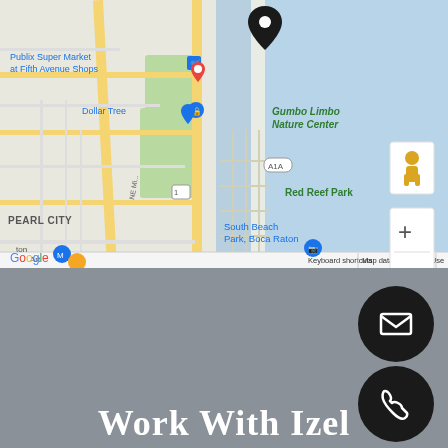[Figure (map): Google Maps screenshot showing Boca Raton, Florida area with Gumbo Limbo Nature Center, Red Reef Park, South Beach Park, Publix Super Market at Fifth Avenue Shops, Dollar Tree, Pearl City, and map controls. Location pin visible at top center near water.]
[Figure (other): Dark gray section with email icon (envelope) in a black circle button on the right side and phone icon in a black circle button below it]
Work With Izel